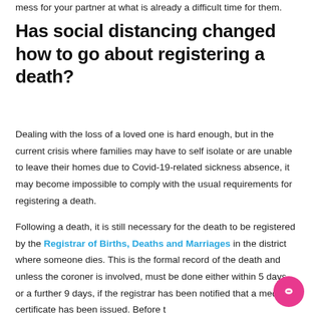mess for your partner at what is already a difficult time for them.
Has social distancing changed how to go about registering a death?
Dealing with the loss of a loved one is hard enough, but in the current crisis where families may have to self isolate or are unable to leave their homes due to Covid-19-related sickness absence, it may become impossible to comply with the usual requirements for registering a death.
Following a death, it is still necessary for the death to be registered by the Registrar of Births, Deaths and Marriages in the district where someone dies. This is the formal record of the death and unless the coroner is involved, must be done either within 5 days, or a further 9 days, if the registrar has been notified that a medical certificate has been issued. Before the COVID-19 crisis, only certain people could register a death and